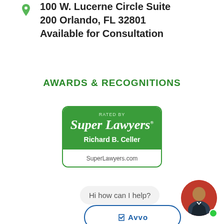100 W. Lucerne Circle Suite 200 Orlando, FL 32801
Available for Consultation
AWARDS & RECOGNITIONS
[Figure (logo): Super Lawyers badge: green rounded rectangle with 'RATED BY' at top, 'Super Lawyers' in large italic serif font, 'Richard B. Celler' in bold, and 'SuperLawyers.com' in white bar at bottom]
[Figure (screenshot): Chat bubble saying 'Hi how can I help?' with a circular avatar photo of a man in a suit on a red background with a green online indicator dot]
[Figure (logo): Avvo logo partially visible at bottom, blue circle border with Avvo checkmark and text]